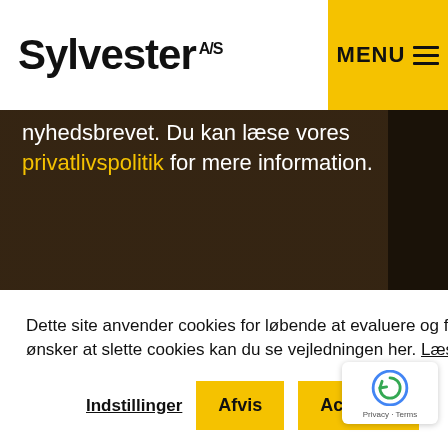Sylvester A/S
nyhedsbrevet. Du kan læse vores privatlivspolitik for mere information.
TILMELD NYHEDSBREVET
Dette site anvender cookies for løbende at evaluere og forbedre din oplevelse på siden. Hvis du ønsker at slette cookies kan du se vejledningen her. Læs mere her
Indstillinger
Afvis
Acceptér